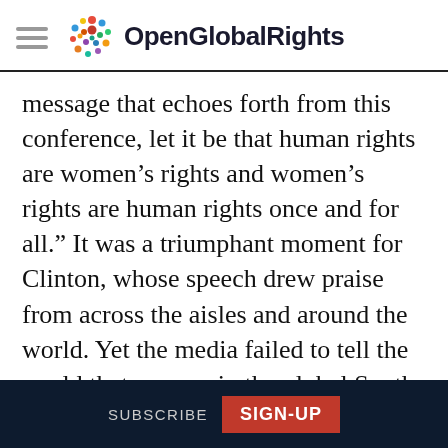OpenGlobalRights
message that echoes forth from this conference, let it be that human rights are women’s rights and women’s rights are human rights once and for all.” It was a triumphant moment for Clinton, whose speech drew praise from across the aisles and around the world. Yet the media failed to tell the world that women in the global South were the ones who had invented the slogan. Few people heard about the
SUBSCRIBE  SIGN-UP